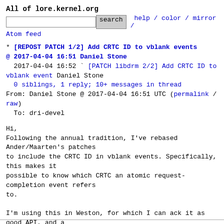All of lore.kernel.org
search  help / color / mirror / Atom feed
* [REPOST PATCH 1/2] Add CRTC ID to vblank events
@ 2017-04-04 16:51 Daniel Stone
  2017-04-04 16:52 ` [PATCH libdrm 2/2] Add CRTC ID to vblank event Daniel Stone
  0 siblings, 1 reply; 10+ messages in thread
From: Daniel Stone @ 2017-04-04 16:51 UTC (permalink / raw)
  To: dri-devel
Hi,
Following the annual tradition, I've rebased Ander/Maarten's patches
to include the CRTC ID in vblank events. Specifically, this makes it
possible to know which CRTC an atomic request-completion event refers
to.

I'm using this in Weston, for which I can ack it as good API, and a
second opinion of this should be on the way shortly.

Cheers,
Daniel